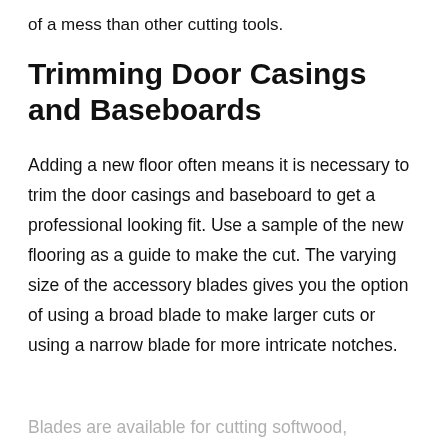of a mess than other cutting tools.
Trimming Door Casings and Baseboards
Adding a new floor often means it is necessary to trim the door casings and baseboard to get a professional looking fit. Use a sample of the new flooring as a guide to make the cut. The varying size of the accessory blades gives you the option of using a broad blade to make larger cuts or using a narrow blade for more intricate notches.
Blades are available for cutting softwood,